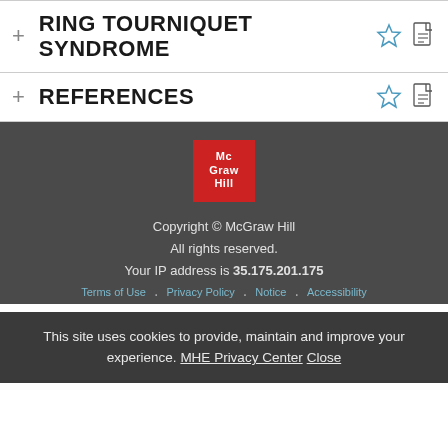RING TOURNIQUET SYNDROME
REFERENCES
[Figure (logo): McGraw Hill red square logo with white text]
Copyright © McGraw Hill
All rights reserved.
Your IP address is 35.175.201.175
Terms of Use   Privacy Policy   Notice   Accessibility
This site uses cookies to provide, maintain and improve your experience. MHE Privacy Center Close